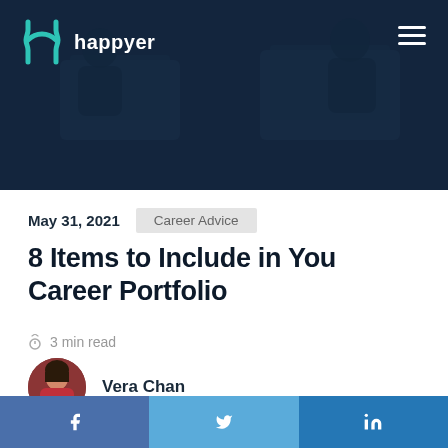[Figure (photo): Hero banner with dark overlay showing people working at laptops in an office setting, with Happyer logo and hamburger menu in navbar]
happyer
May 31, 2021   Career Advice
8 Items to Include in You Career Portfolio
3 min read
Vera Chan